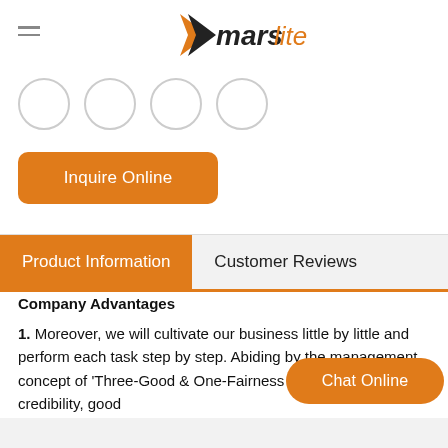marslite logo header
[Figure (logo): Marslite company logo with orange and dark triangular arrow mark, 'mars' in dark bold italic and 'lite' in orange italic text]
[Figure (other): Four empty social media icon circles in a row]
Inquire Online
Product Information | Customer Reviews
Company Advantages
1. Moreover, we will cultivate our business little by little and perform each task step by step. Abiding by the management concept of 'Three-Good & One-Fairness (good quality, good credibility, good
Chat Online